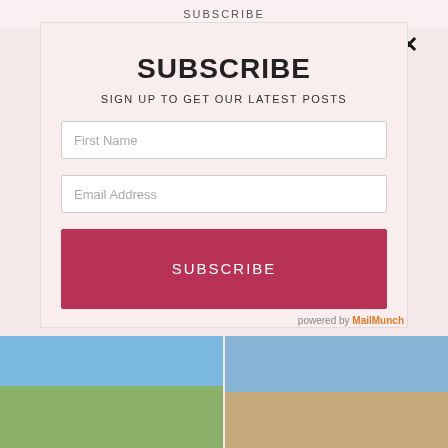SUBSCRIBE
SUBSCRIBE
SIGN UP TO GET OUR LATEST POSTS
First Name
Email Address
SUBSCRIBE
powered by MailMunch
[Figure (photo): Two people wearing wide-brim hats outdoors with trees and blue sky in background]
[Figure (photo): Stone building facade with architectural details and blue sky]